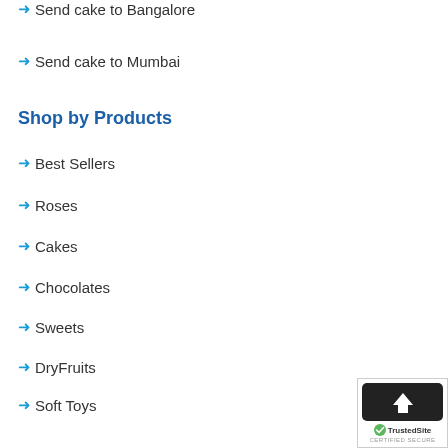➜ Send cake to Mumbai
Shop by Products
➜ Best Sellers
➜ Roses
➜ Cakes
➜ Chocolates
➜ Sweets
➜ DryFruits
➜ Soft Toys
➜ Combo Gifts
Shop by Occasion
➜ Anniversary
[Figure (logo): TrustedSite Certified Secure badge with upload arrow icon]